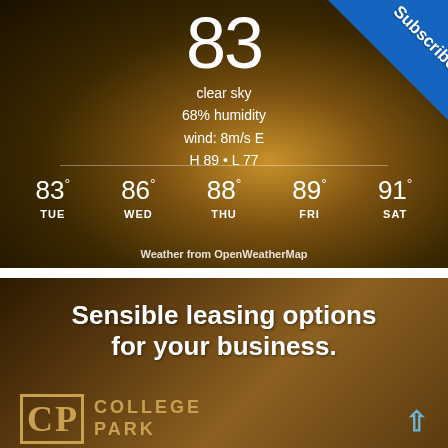[Figure (screenshot): Weather app screenshot showing current temperature 83°, clear sky, 68% humidity, wind: 8m/s E, H 89 • L 77, with 5-day forecast: TUE 83°, WED 86°, THU 88°, FRI 89°, SAT 91°. Subscribe badge in top-right corner. Credit: Weather from OpenWeatherMap.]
[Figure (screenshot): Advertisement for College Park with text 'Sensible leasing options for your business.' and CP logo.]